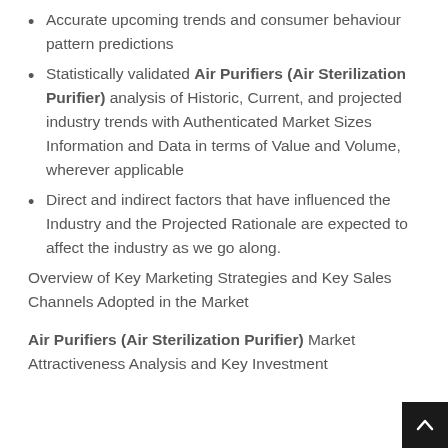Accurate upcoming trends and consumer behaviour pattern predictions
Statistically validated Air Purifiers (Air Sterilization Purifier) analysis of Historic, Current, and projected industry trends with Authenticated Market Sizes Information and Data in terms of Value and Volume, wherever applicable
Direct and indirect factors that have influenced the Industry and the Projected Rationale are expected to affect the industry as we go along.
Overview of Key Marketing Strategies and Key Sales Channels Adopted in the Market
Air Purifiers (Air Sterilization Purifier) Market Attractiveness Analysis and Key Investment